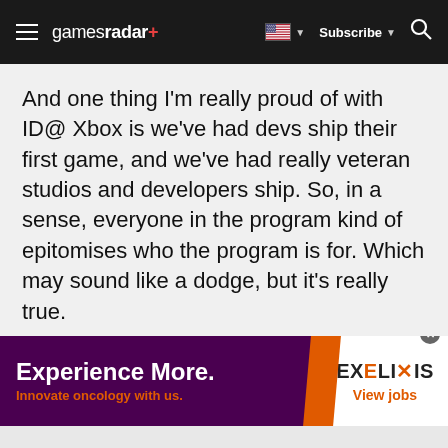gamesradar+ | Subscribe | Search
And one thing I'm really proud of with ID@ Xbox is we've had devs ship their first game, and we've had really veteran studios and developers ship. So, in a sense, everyone in the program kind of epitomises who the program is for. Which may sound like a dodge, but it's really true.
Advertisement
[Figure (infographic): Advertisement banner for Exelixis: 'Experience More. Innovate oncology with us.' with EXELIXIS View jobs branding on white panel.]